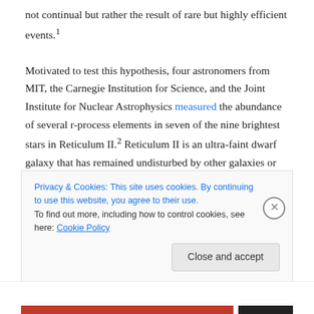not continual but rather the result of rare but highly efficient events.¹
Motivated to test this hypothesis, four astronomers from MIT, the Carnegie Institution for Science, and the Joint Institute for Nuclear Astrophysics measured the abundance of several r-process elements in seven of the nine brightest stars in Reticulum II.² Reticulum II is an ultra-faint dwarf galaxy that has remained undisturbed by other galaxies or infalling intergalactic gas since it formed more than 10 billion years ago. The enrichment of the r-
Privacy & Cookies: This site uses cookies. By continuing to use this website, you agree to their use.
To find out more, including how to control cookies, see here: Cookie Policy
Close and accept